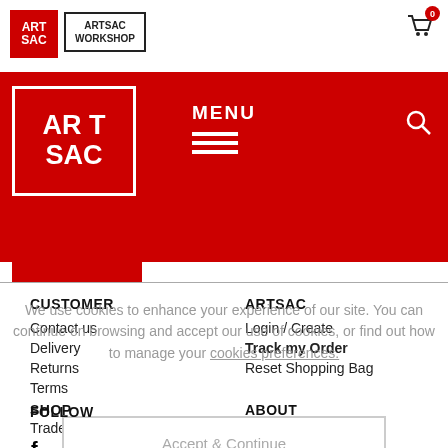ARTSAC | ARTSAC WORKSHOP
[Figure (logo): ArtSac red logo in red navigation header bar with MENU text and hamburger icon]
CUSTOMER
Contact us
Delivery
Returns
Terms
ARTSAC
Login / Create
Track my Order
Reset Shopping Bag
SHOP
Trade Customers
ABOUT
Jobs
We use cookies to enhance your experience of our site. You can continue on browsing and accept our use of cookies, or find out how to manage your cookies preferences.
Accept & Continue
FOLLOW
[Figure (illustration): Facebook, Instagram, and Twitter social media icons]